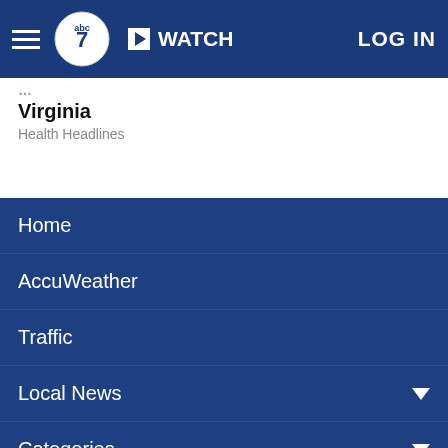ABC7 News navigation bar with hamburger menu, logo, WATCH button, and LOG IN
Virginia
Health Headlines
Home
AccuWeather
Traffic
Local News
Categories
Station Info
Shows
Apps
[Figure (logo): ABC7 News logo at bottom of page]